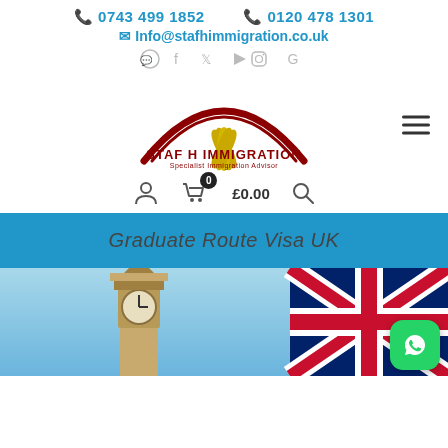📞 0743 499 1852  📞 0120 478 1301
✉ Info@stafhimmigration.co.uk
[Figure (logo): Staf H Immigration logo — red arch with gold fan/flower, text STAF H IMMIGRATION Specialist Immigration Advisor]
0  £0.00
Graduate Route Visa UK
[Figure (photo): Photo of Big Ben clock tower against blue sky with UK Union Jack flag on the right side]